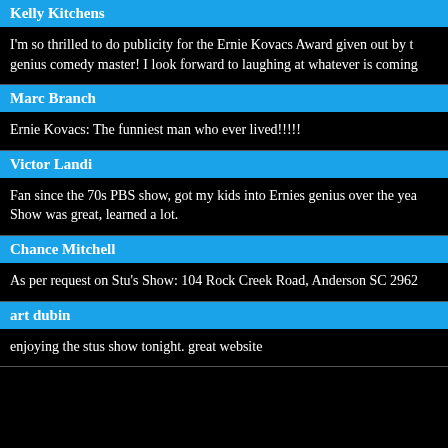Kelly Kitchens
I'm so thrilled to do publicity for the Ernie Kovacs Award given out by the genius comedy master! I look forward to laughing at whatever is coming
Marc Branch
Ernie Kovacs: The funniest man who ever lived!!!!!
Victor Landi
Fan since the 70s PBS show, got my kids into Ernies genius over the years. Show was great, learned a lot.
Chance Mitchell
As per request on Stu's Show: 104 Rock Creek Road, Anderson SC 2962
art dubin
enjoying the stus show tonight. great website